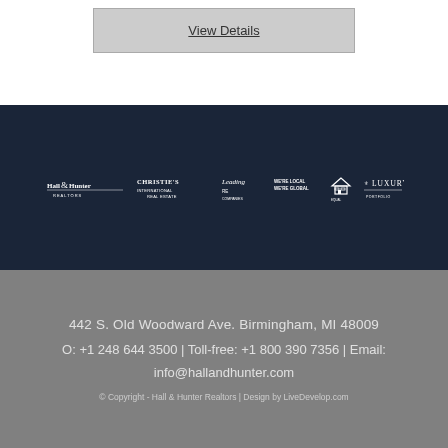View Details
[Figure (logo): Row of company logos: Hall & Hunter, Christie's International Real Estate, Leading RE, We're Local We're Global, Equal Housing, Luxury]
442 S. Old Woodward Ave. Birmingham, MI 48009
O: +1 248 644 3500 | Toll-free: +1 800 390 7356 | Email:
info@hallandhunter.com
© Copyright - Hall & Hunter Realtors | Design by LiveDevelop.com